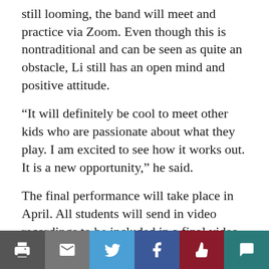still looming, the band will meet and practice via Zoom. Even though this is nontraditional and can be seen as quite an obstacle, Li still has an open mind and positive attitude.
“It will definitely be cool to meet other kids who are passionate about what they play. I am excited to see how it works out. It is a new opportunity,” he said.
The final performance will take place in April. All students will send in video recordings to be included in a final video concert, to be premiered online by the Eastern Division of NAfME. The performance will consist of various types of music.
“I still have a lot left to learn, and I am excited to
Print | Email | Twitter | Facebook | Like | Comment